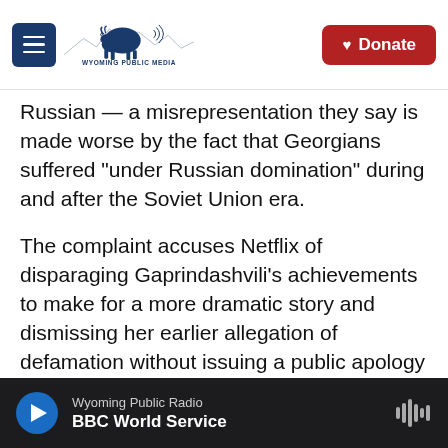Wyoming Public Media | Donate
Russian — a misrepresentation they say is made worse by the fact that Georgians suffered "under Russian domination" during and after the Soviet Union era.
The complaint accuses Netflix of disparaging Gaprindashvili's achievements to make for a more dramatic story and dismissing her earlier allegation of defamation without issuing a public apology or retraction.
It seeks at least $5 million in damages, arguing that the false statement caused Gaprindashvili
Wyoming Public Radio | BBC World Service